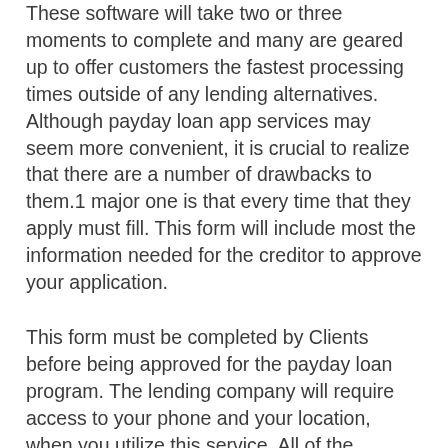These software will take two or three moments to complete and many are geared up to offer customers the fastest processing times outside of any lending alternatives. Although payday loan app services may seem more convenient, it is crucial to realize that there are a number of drawbacks to them.1 major one is that every time that they apply must fill. This form will include most the information needed for the creditor to approve your application.
This form must be completed by Clients before being approved for the payday loan program. The lending company will require access to your phone and your location, when you utilize this service. All of the information needed to give you the approval you will need is completely safe and is available through your phone.
Applying for a payday loan app is free for clients. Once